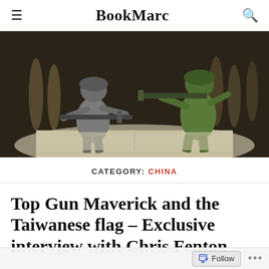BookMarc
[Figure (photo): Two plastic toy soldiers facing each other on an open book — one gray soldier aiming a rifle from the left, one green soldier pointing and aiming from the right, with bullet casings blurred in the background.]
CATEGORY: CHINA
Top Gun Maverick and the Taiwanese flag – Exclusive interview with Chris Fenton